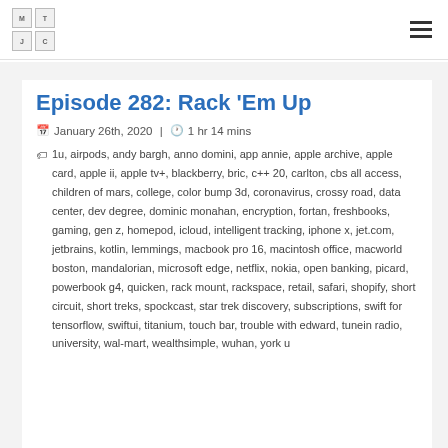MTJC podcast header with logo and hamburger menu
Episode 282: Rack 'Em Up
January 26th, 2020 | 1 hr 14 mins
1u, airpods, andy bargh, anno domini, app annie, apple archive, apple card, apple ii, apple tv+, blackberry, bric, c++ 20, carlton, cbs all access, children of mars, college, color bump 3d, coronavirus, crossy road, data center, dev degree, dominic monahan, encryption, fortan, freshbooks, gaming, gen z, homepod, icloud, intelligent tracking, iphone x, jet.com, jetbrains, kotlin, lemmings, macbook pro 16, macintosh office, macworld boston, mandalorian, microsoft edge, netflix, nokia, open banking, picard, powerbook g4, quicken, rack mount, rackspace, retail, safari, shopify, short circuit, short treks, spockcast, star trek discovery, subscriptions, swift for tensorflow, swiftui, titanium, touch bar, trouble with edward, tunein radio, university, wal-mart, wealthsimple, wuhan, york u